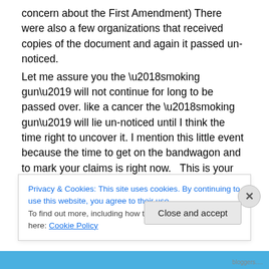concern about the First Amendment)  There were also a few organizations that received copies of the document and again it passed un-noticed.
Let me assure you the ‘smoking gun’ will not continue for long to be passed over. like a cancer the ‘smoking gun’ will lie un-noticed until I think the time right to uncover it. I mention this little event because the time to get on the bandwagon and to mark your claims is right now.   This is your opportunity to be profound and get in position to say *****.
The public is getting restless – Grandma is being abused
Privacy & Cookies: This site uses cookies. By continuing to use this website, you agree to their use.
To find out more, including how to control cookies, see here: Cookie Policy
Close and accept